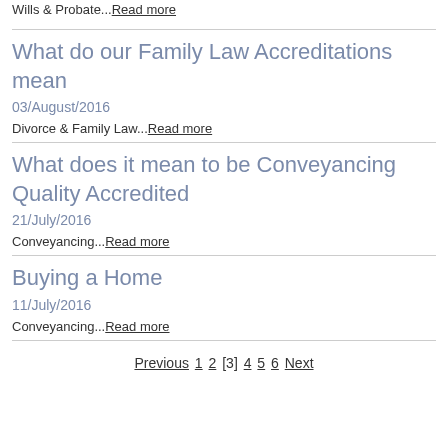Wills & Probate...Read more
What do our Family Law Accreditations mean
03/August/2016
Divorce & Family Law...Read more
What does it mean to be Conveyancing Quality Accredited
21/July/2016
Conveyancing...Read more
Buying a Home
11/July/2016
Conveyancing...Read more
Previous 1 2 [3] 4 5 6 Next